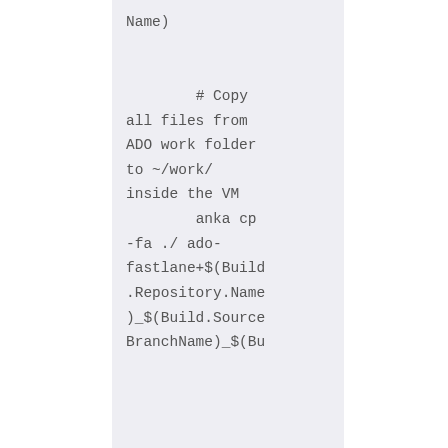Name)

            # Copy all files from ADO work folder to ~/work/ inside the VM
            anka cp -fa ./ ado-fastlane+$(Build.Repository.Name)_$(Build.SourceBranchName)_$(Bu